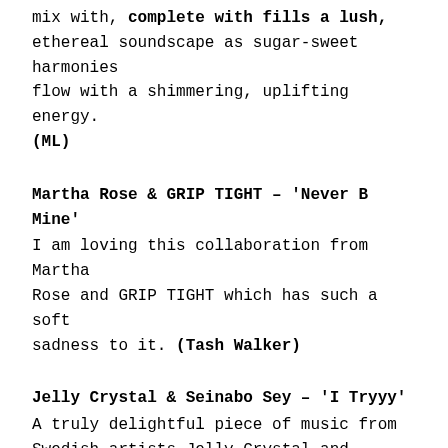mix with, complete with fills a lush, ethereal soundscape as sugar-sweet harmonies flow with a shimmering, uplifting energy. (ML)
Martha Rose & GRIP TIGHT – 'Never B Mine'
I am loving this collaboration from Martha Rose and GRIP TIGHT which has such a soft sadness to it. (Tash Walker)
Jelly Crystal & Seinabo Sey – 'I Tryyy'
A truly delightful piece of music from Swedish artists Jelly Crystal and Seinabo Sey. Serving as a fervent love song, with those beautiful vocals from Seinabo Sey